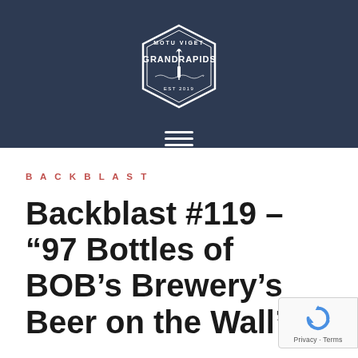[Figure (logo): Grand Rapids city logo in a diamond/hexagon shape with text 'MOTU VIGET' at top and 'GRAND RAPIDS' in the center with a torch/flame emblem, on dark navy background]
[Figure (other): Hamburger menu icon (three horizontal white lines) on dark navy background]
BACKBLAST
Backblast #119 – “97 Bottles of BOB’s Brewery’s Beer on the Wall”